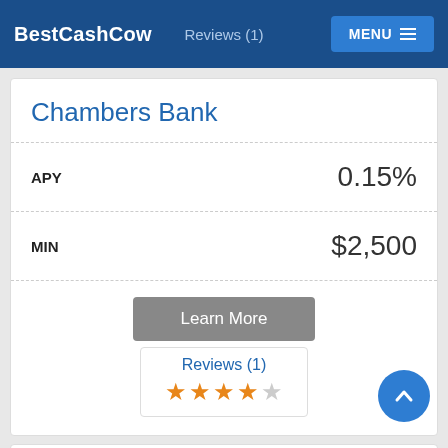BestCashCow | Reviews (1) | MENU
Chambers Bank
| Field | Value |
| --- | --- |
| APY | 0.15% |
| MIN | $2,500 |
Learn More
Reviews (1) ★★★★☆
Legacy National Bank
| Field | Value |
| --- | --- |
| APY | 0.15% |